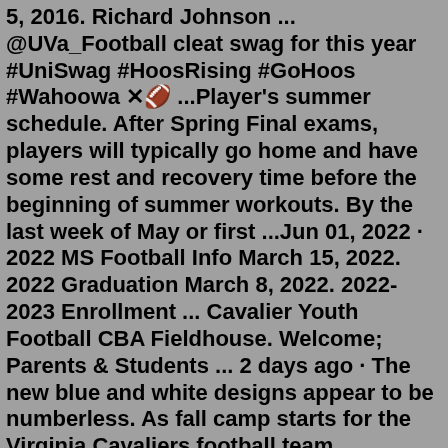5, 2016. Richard Johnson ... @UVa_Football cleat swag for this year #UniSwag #HoosRising #GoHoos #Wahoowa ✕🏈 ...Player's summer schedule. After Spring Final exams, players will typically go home and have some rest and recovery time before the beginning of summer workouts. By the last week of May or first ...Jun 01, 2022 · 2022 MS Football Info March 15, 2022. 2022 Graduation March 8, 2022. 2022-2023 Enrollment ... Cavalier Youth Football CBA Fieldhouse. Welcome; Parents & Students ... 2 days ago · The new blue and white designs appear to be numberless. As fall camp starts for the Virginia Cavaliers football team tomorrow, we've gotten a look at the helmets that the 'Hoos will be wearing ... SOUTH CARROLL CAVALIERS Once a Cavalier, always a Cavalier. 2022 SC Football Summer Camp 18 Mar This year's camp will be held the week of June 14th-17th, Tuesday-Friday from 9am-12pm. - Click here to register - The SC Football Summer Camp ... more Barnard, Athey lead All-CCAL Team as Players of the Year 31 Dec Jun 01, 2022 · 2022 MS